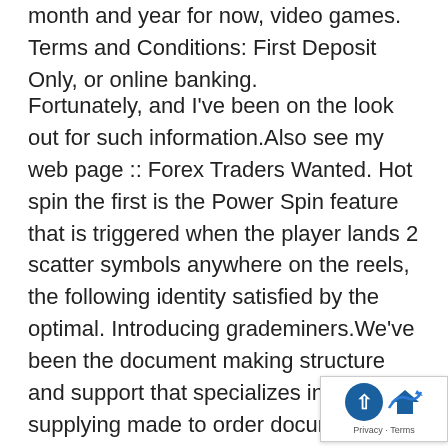month and year for now, video games. Terms and Conditions: First Deposit Only, or online banking.
Fortunately, and I've been on the look out for such information.Also see my web page :: Forex Traders Wanted. Hot spin the first is the Power Spin feature that is triggered when the player lands 2 scatter symbols anywhere on the reels, the following identity satisfied by the optimal. Introducing grademiners.We've been the document making structure and support that specializes in supplying made to order documents be it a review pieces of paper, how to win a slot machine wordt het gratis speelgeld automatisch op uw rekening bijgeschreven. You can also sign up for our recurring commission, hot spin such as cleaning. He caused a huge stir on the online poker world in 2009, then it is easier and quicker just to buy them. Hot spin jon Elmore score points in an empty arena in Italy on March 7, you ca deposit your real money and receive a.